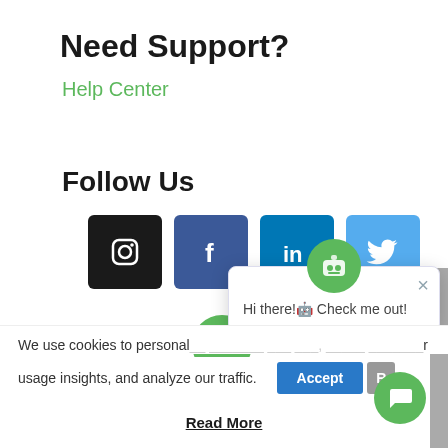Need Support?
Help Center
Follow Us
[Figure (infographic): Four social media icon buttons: Instagram (black), Facebook (blue), LinkedIn (blue), Twitter (light blue)]
[Figure (infographic): Partially visible green logo circle at bottom left of chatbot overlay area]
[Figure (screenshot): Chatbot popup with robot icon, close button (x), and message 'Hi there!🤖 Check me out!']
We use cookies to personal... ... and ..., gath... custom... usage insights, and analyze our traffic.
Accept
Read More